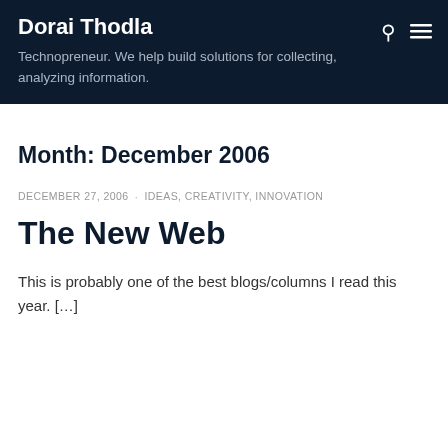Dorai Thodla
Technopreneur. We help build solutions for collecting, analyzing information.
Month: December 2006
DECEMBER 27, 2006 · IDEAS, CREATIVITY, INNOVATION
The New Web
This is probably one of the best blogs/columns I read this year. […]